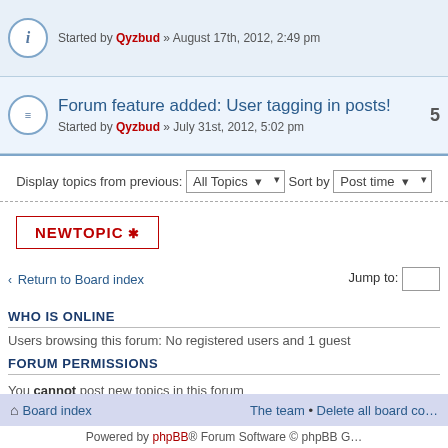Started by Qyzbud » August 17th, 2012, 2:49 pm
Forum feature added: User tagging in posts! — Started by Qyzbud » July 31st, 2012, 5:02 pm
Display topics from previous: All Topics  Sort by  Post time
NEWTOPIC *
< Return to Board index   Jump to:
WHO IS ONLINE
Users browsing this forum: No registered users and 1 guest
FORUM PERMISSIONS
You cannot post new topics in this forum
You cannot reply to topics in this forum
You cannot edit your posts in this forum
You cannot delete your posts in this forum
You cannot post attachments in this forum
Board index   The team • Delete all board co…
Powered by phpBB® Forum Software © phpBB G…